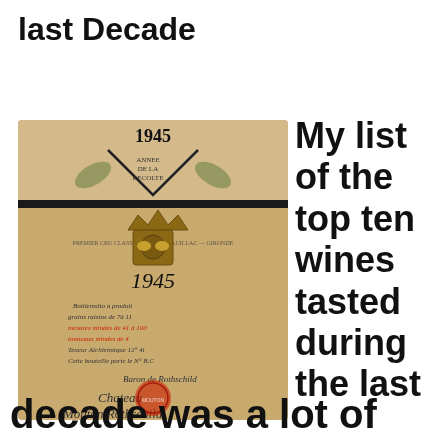last Decade
[Figure (photo): Vintage wine bottle label from 1945 Chateau Mouton Rothschild, showing aged paper label with ornate crest, handwritten text, and red wax seal.]
My list of the top ten wines tasted during the last
decade was a lot of